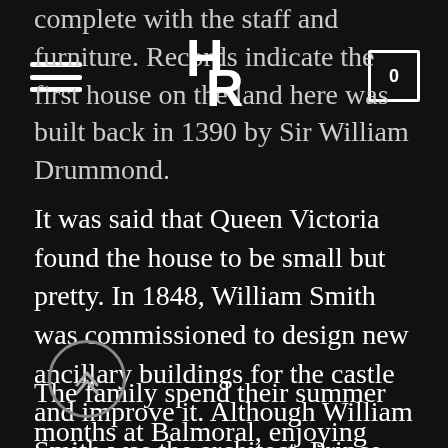complete with the staff and furniture. Records indicate the first house on the land here was built back in 1390 by Sir William Drummond.
It was said that Queen Victoria found the house to be small but pretty. In 1848, William Smith was commissioned to design new ancillary buildings for the castle and improve it. Although William Smith was the architect, Prince Albert amended his designs.
The family spend their summer months at Balmoral, enjoying walks, entertaining family and friends, dances, and shooting parties in the